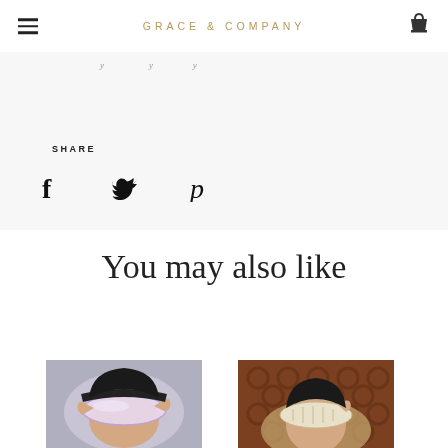GRACE & COMPANY
SHARE
[Figure (infographic): Social share icons: Facebook (f), Twitter (bird), Pinterest (P)]
You may also like
[Figure (photo): Person adjusting a silk sleep eye mask, lavender/pink sheen, studio background]
[Figure (photo): Person wearing a silk sleep eye mask against a brown tufted leather background]